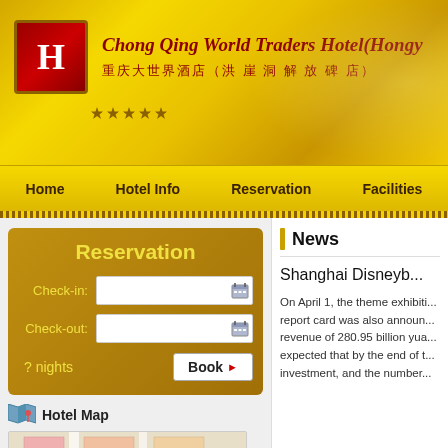[Figure (screenshot): Hotel logo red square with H letter]
Chong Qing World Traders Hotel(Hong...)
重庆大世界酒店（洪崖洞解放碑店）
Home  Hotel Info  Reservation  Facilities
Reservation
Check-in:
Check-out:
? nights
Book
Hotel Map
[Figure (map): Street map thumbnail showing hotel location]
News
Shanghai Disneyb...
On April 1, the theme exhibiti... report card was also announ... revenue of 280.95 billion yua... expected that by the end of t... investment, and the number...